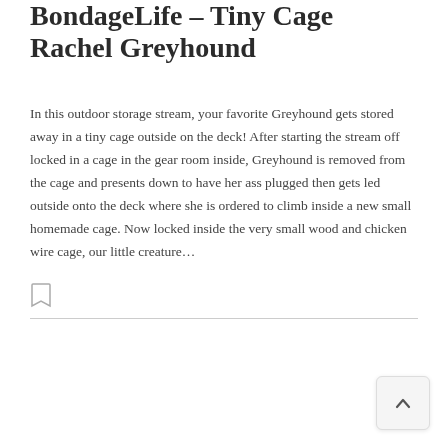BondageLife – Tiny Cage Rachel Greyhound
In this outdoor storage stream, your favorite Greyhound gets stored away in a tiny cage outside on the deck! After starting the stream off locked in a cage in the gear room inside, Greyhound is removed from the cage and presents down to have her ass plugged then gets led outside onto the deck where she is ordered to climb inside a new small homemade cage. Now locked inside the very small wood and chicken wire cage, our little creature…